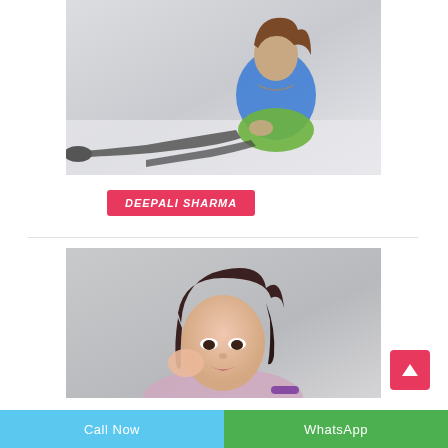[Figure (photo): Young woman in blue top and green skirt sitting on floor with legs extended, wearing dark tights and a chain necklace]
DEEPALI SHARMA
[Figure (photo): Portrait of young woman with dark hair, resting chin on hand, wearing purple bracelet]
Call Now
WhatsApp